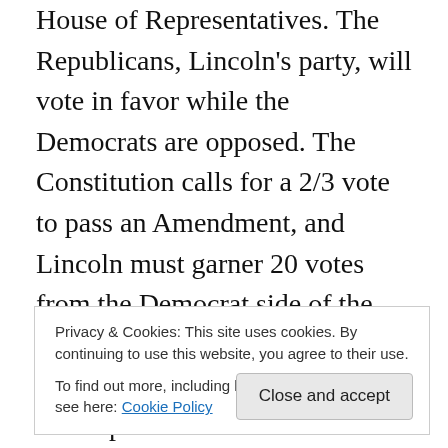House of Representatives. The Republicans, Lincoln's party, will vote in favor while the Democrats are opposed. The Constitution calls for a 2/3 vote to pass an Amendment, and Lincoln must garner 20 votes from the Democrat side of the aisle. He uses flattery, persuasion and patronage bribery to accomplish his aims.
The cast of this fine movie is exceptional. Daniel Day Lewis as Lincoln brings a warm and humanizing side to a man often depicted as cold and aloof, although his prosthetic makeup caused me to think of Cosmo Kramer much of the time. Tommy Lee Jones is cast as Thaddeus
Privacy & Cookies: This site uses cookies. By continuing to use this website, you agree to their use.
To find out more, including how to control cookies, see here: Cookie Policy
in 1865. Jones sports a worn and tired face that looks like